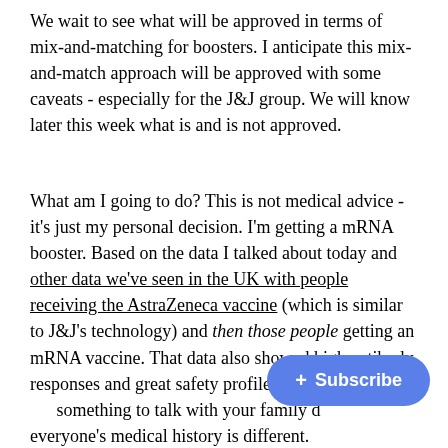We wait to see what will be approved in terms of mix-and-matching for boosters. I anticipate this mix-and-match approach will be approved with some caveats - especially for the J&J group. We will know later this week what is and is not approved.
What am I going to do? This is not medical advice - it's just my personal decision. I'm getting a mRNA booster. Based on the data I talked about today and other data we've seen in the UK with people receiving the AstraZeneca vaccine (which is similar to J&J's technology) and then those people getting an mRNA vaccine. That data also showed high antibody responses and great safety profiles! These decisions are something to talk with your family doctor about - everyone's medical history is different.